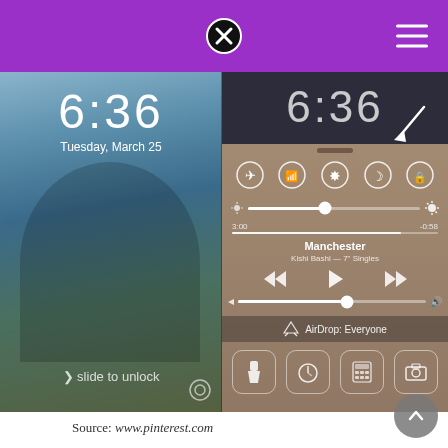[Figure (screenshot): Two iPhones side by side showing 6:36 time, Tuesday March 25. Left shows lock screen with two children. Right shows iOS Control Center with brightness, music (Manchester by Kishi Bashi), AirDrop, and quick-access icons.]
Source: www.pinterest.com
This morning my husband's iphone 6 plus stopped playing text tones. Turn off focus or